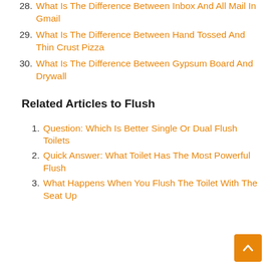28. What Is The Difference Between Inbox And All Mail In Gmail
29. What Is The Difference Between Hand Tossed And Thin Crust Pizza
30. What Is The Difference Between Gypsum Board And Drywall
Related Articles to Flush
1. Question: Which Is Better Single Or Dual Flush Toilets
2. Quick Answer: What Toilet Has The Most Powerful Flush
3. What Happens When You Flush The Toilet With The Seat Up